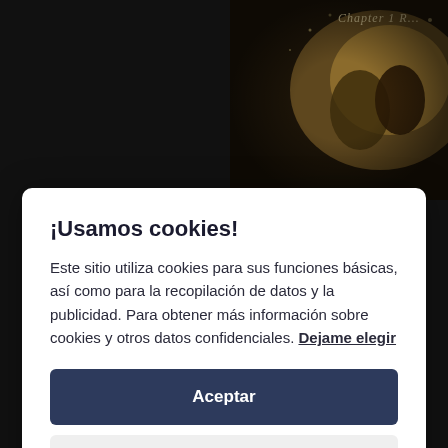[Figure (screenshot): Website screenshot showing a cookie consent modal overlay on top of a dark music/album page. Background shows album art with vintage painting style in top right, dark sidebar on left, and track listing visible at bottom. Modal is white with rounded corners.]
¡Usamos cookies!
Este sitio utiliza cookies para sus funciones básicas, así como para la recopilación de datos y la publicidad. Para obtener más información sobre cookies y otros datos confidenciales. Dejame elegir
Aceptar
Close
08. Revenge (Acoustic)
09. Demons (Acoustic)
10 Tell Me Why (Acoustic)